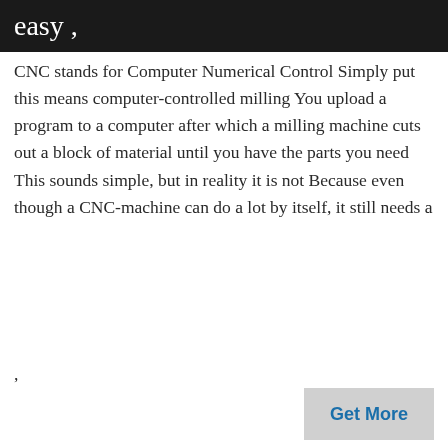easy ,
CNC stands for Computer Numerical Control Simply put this means computer-controlled milling You upload a program to a computer after which a milling machine cuts out a block of material until you have the parts you need This sounds simple, but in reality it is not Because even though a CNC-machine can do a lot by itself, it still needs a
,
Get More
[Figure (photo): Outdoor industrial plant with large metal structures, silos, conveyor systems, and a tall chimney stack against a cloudy sky. Appears to be a cement or asphalt mixing facility.]